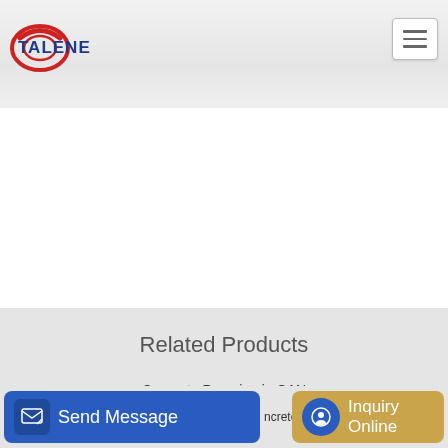[Figure (logo): Talenet company logo with red/blue oval graphic and blue bold text 'TALENET']
[Figure (other): Hamburger menu button (three horizontal lines) in top right corner]
Related Products
Concrete Pumping in CAN
Trailer Concrete Pump Main Oil Pump Rexroth A7Vo55Lrds63L
Send Message
Inquiry Online